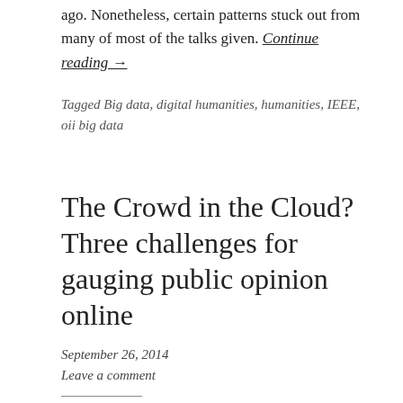ago. Nonetheless, certain patterns stuck out from many of most of the talks given. Continue reading →
Tagged Big data, digital humanities, humanities, IEEE, oii big data
The Crowd in the Cloud? Three challenges for gauging public opinion online
September 26, 2014
Leave a comment
Cowls, Josh (2014) The Crowd in the Cloud?